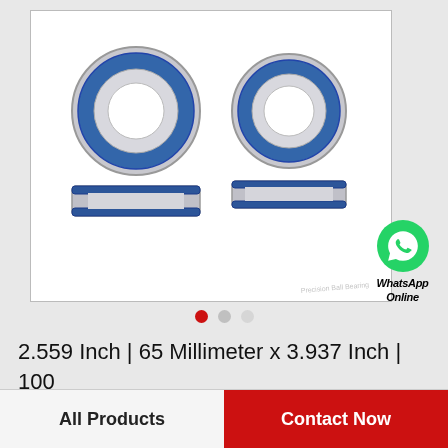[Figure (photo): Four ball bearings with blue rubber seals, arranged in two pairs. Metal/silver outer rings with blue-sealed faces visible. Product photo on white background with a faint watermark 'Precision Ball Bearing' at bottom right.]
[Figure (logo): WhatsApp green circle icon with phone handset symbol, labeled 'WhatsApp Online' in bold italic text below.]
2.559 Inch | 65 Millimeter x 3.937 Inch | 100 Millimeter x 2.835 Inch | 72 Millimeter TIMK…
All Products
Contact Now